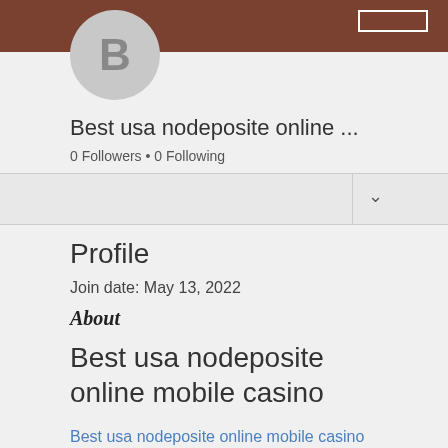Best usa nodeposite online ...
0 Followers • 0 Following
Profile
Join date: May 13, 2022
About
Best usa nodeposite online mobile casino
Best usa nodeposite online mobile casino